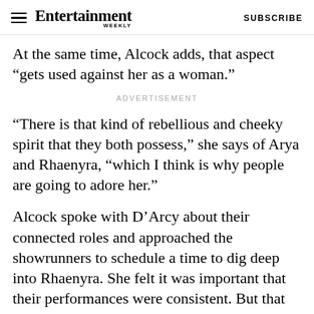Entertainment Weekly  SUBSCRIBE
At the same time, Alcock adds, that aspect "gets used against her as a woman."
ADVERTISEMENT
"There is that kind of rebellious and cheeky spirit that they both possess," she says of Arya and Rhaenyra, "which I think is why people are going to adore her."
Alcock spoke with D'Arcy about their connected roles and approached the showrunners to schedule a time to dig deep into Rhaenyra. She felt it was important that their performances were consistent. But that meeting never